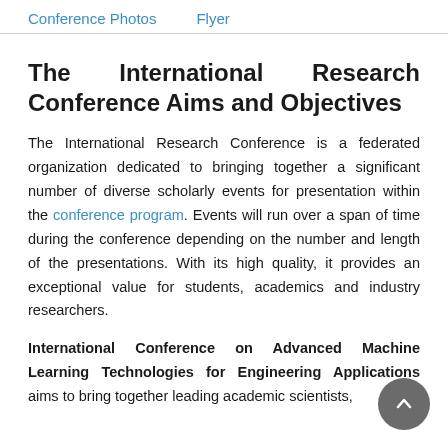Conference Photos   Flyer
The International Research Conference Aims and Objectives
The International Research Conference is a federated organization dedicated to bringing together a significant number of diverse scholarly events for presentation within the conference program. Events will run over a span of time during the conference depending on the number and length of the presentations. With its high quality, it provides an exceptional value for students, academics and industry researchers.
International Conference on Advanced Machine Learning Technologies for Engineering Applications aims to bring together leading academic scientists,